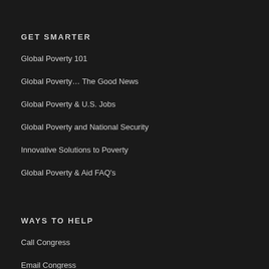GET SMARTER
Global Poverty 101
Global Poverty… The Good News
Global Poverty & U.S. Jobs
Global Poverty and National Security
Innovative Solutions to Poverty
Global Poverty & Aid FAQ's
WAYS TO HELP
Call Congress
Email Congress
Donate